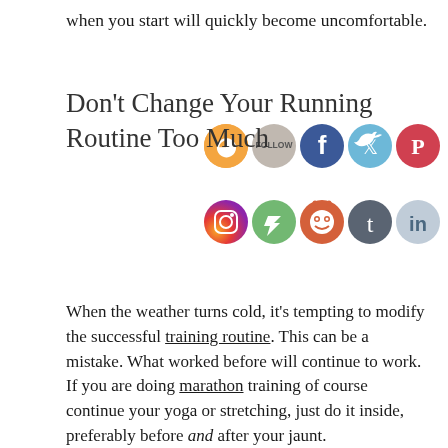when you start will quickly become uncomfortable.
[Figure (illustration): Social media sharing icons: RSS, Follow, Facebook, Twitter, Pinterest in top row; Instagram, Flash/Feedly, Reddit, Tumblr, LinkedIn in bottom row]
Don't Change Your Running Routine Too Much
When the weather turns cold, it's tempting to modify the successful training routine. This can be a mistake. What worked before will continue to work. If you are doing marathon training of course continue your yoga or stretching, just do it inside, preferably before and after your jaunt.
Rather than shortening your workouts, search out better locations, especially for your weekend long runs. As mentioned above, trail running is excellent in cold weather because it cuts down on chilling wind. But there are other possibilities. The Weather Channel and other